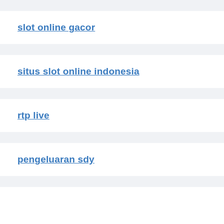slot online gacor
situs slot online indonesia
rtp live
pengeluaran sdy